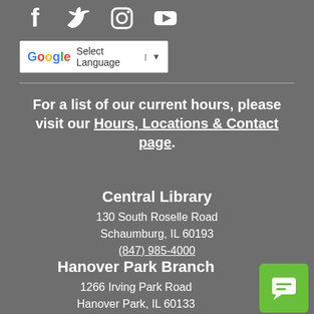[Figure (illustration): Social media icons: Facebook, Twitter, Instagram, YouTube]
[Figure (screenshot): Google Translate language selector widget with 'Select Language' text and dropdown arrow]
For a list of our current hours, please visit our Hours, Locations & Contact page.
Central Library
130 South Roselle Road
Schaumburg, IL 60193
(847) 985-4000
Hanover Park Branch
1266 Irving Park Road
Hanover Park, IL 60133